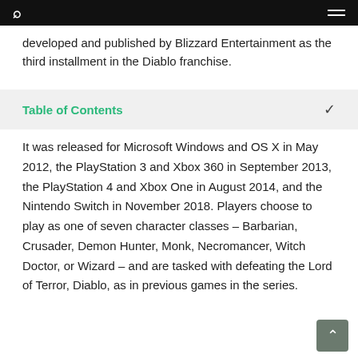developed and published by Blizzard Entertainment as the third installment in the Diablo franchise.
Table of Contents
It was released for Microsoft Windows and OS X in May 2012, the PlayStation 3 and Xbox 360 in September 2013, the PlayStation 4 and Xbox One in August 2014, and the Nintendo Switch in November 2018. Players choose to play as one of seven character classes – Barbarian, Crusader, Demon Hunter, Monk, Necromancer, Witch Doctor, or Wizard – and are tasked with defeating the Lord of Terror, Diablo, as in previous games in the series.